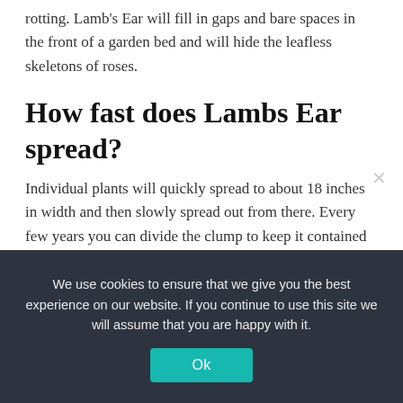rotting. Lamb's Ear will fill in gaps and bare spaces in the front of a garden bed and will hide the leafless skeletons of roses.
How fast does Lambs Ear spread?
Individual plants will quickly spread to about 18 inches in width and then slowly spread out from there. Every few years you can divide the clump to keep it contained in the space allotted for it and to provide new plants for other locations in the garden.
We use cookies to ensure that we give you the best experience on our website. If you continue to use this site we will assume that you are happy with it.